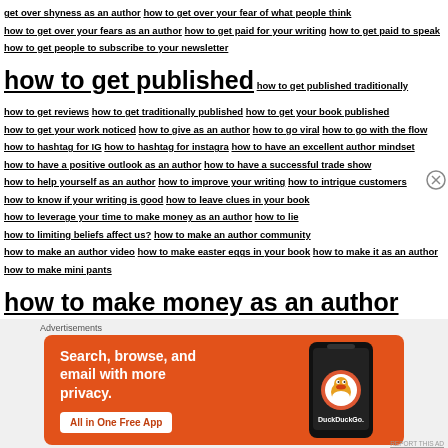get over shyness as an author how to get over your fear of what people think how to get over your fears as an author how to get paid for your writing how to get paid to speak how to get people to subscribe to your newsletter how to get published how to get published traditionally how to get reviews how to get traditionally published how to get your book published how to get your work noticed how to give as an author how to go viral how to go with the flow how to hashtag for IG how to hashtag for instagra how to have an excellent author mindset how to have a positive outlook as an author how to have a successful trade show how to help yourself as an author how to improve your writing how to intrigue customers how to know if your writing is good how to leave clues in your book how to leverage your time to make money as an author how to lie how to limiting beliefs affect us? how to make an author community how to make an author video how to make easter eggs in your book how to make it as an author how to make mini pants how to make money as an author how to make money public
Advertisements
[Figure (screenshot): DuckDuckGo advertisement banner: orange background with text 'Search, browse, and email with more privacy. All in One Free App' and a phone image with DuckDuckGo logo]